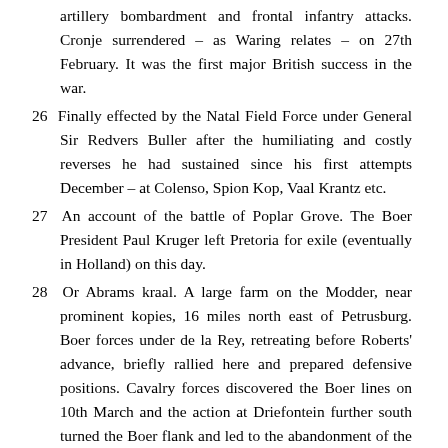artillery bombardment and frontal infantry attacks. Cronje surrendered – as Waring relates – on 27th February. It was the first major British success in the war.
26  Finally effected by the Natal Field Force under General Sir Redvers Buller after the humiliating and costly reverses he had sustained since his first attempts December – at Colenso, Spion Kop, Vaal Krantz etc.
27  An account of the battle of Poplar Grove. The Boer President Paul Kruger left Pretoria for exile (eventually in Holland) on this day.
28  Or Abrams kraal. A large farm on the Modder, near prominent kopies, 16 miles north east of Petrusburg. Boer forces under de la Rey, retreating before Roberts' advance, briefly rallied here and prepared defensive positions. Cavalry forces discovered the Boer lines on 10th March and the action at Driefontein further south turned the Boer flank and led to the abandonment of the defences.
29  The battle of Driefontein – another incident in the advance of Lord Roberts' South African Field Force on the Orange Free